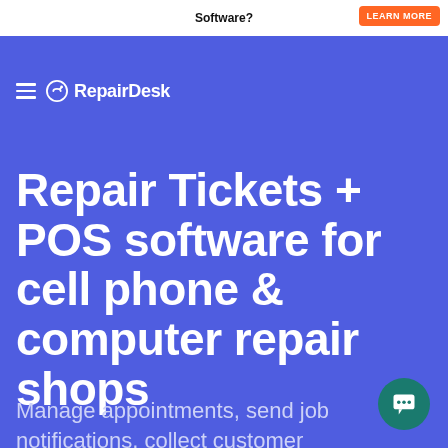Software? LEARN MORE
[Figure (logo): RepairDesk logo with hamburger menu icon — white gear/arrow icon and bold white text 'RepairDesk' on blue background]
Repair Tickets + POS software for cell phone & computer repair shops
Manage appointments, send job notifications, collect customer signatures, get more reviews and much more